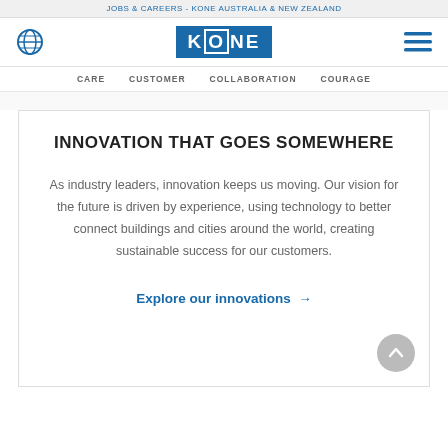JOBS & CAREERS - KONE AUSTRALIA & NEW ZEALAND
[Figure (logo): KONE logo — white K·O·N·E text on blue background rectangle, with globe icon on left and hamburger menu icon on right]
CARE   CUSTOMER   COLLABORATION   COURAGE
INNOVATION THAT GOES SOMEWHERE
As industry leaders, innovation keeps us moving. Our vision for the future is driven by experience, using technology to better connect buildings and cities around the world, creating sustainable success for our customers.
Explore our innovations →